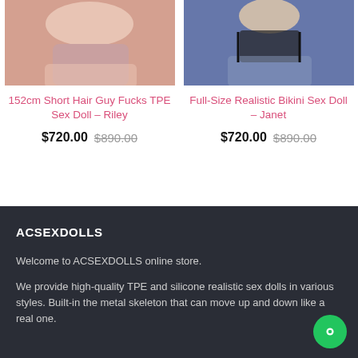[Figure (photo): Cropped photo of a person in pink/nude underwear, seated]
[Figure (photo): Cropped photo of a person in a black bikini, upper body visible]
152cm Short Hair Guy Fucks TPE Sex Doll – Riley
Full-Size Realistic Bikini Sex Doll – Janet
$720.00  $890.00
$720.00  $890.00
ACSEXDOLLS
Welcome to ACSEXDOLLS online store.
We provide high-quality TPE and silicone realistic sex dolls in various styles. Built-in the metal skeleton that can move up and down like a real one.